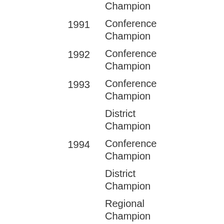Champion
1991 Conference Champion
1992 Conference Champion
1993 Conference Champion
District Champion
1994 Conference Champion
District Champion
Regional Champion
State Runner-up
1995 Conference Champion
District Runner-up
1996 Conference Champion